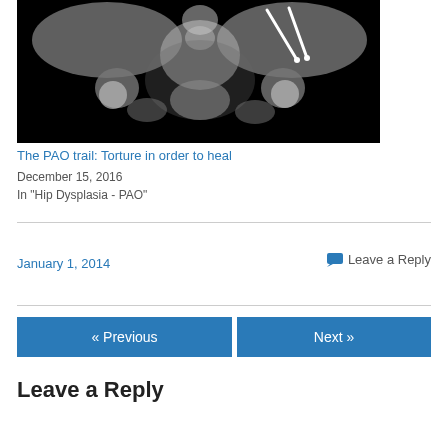[Figure (photo): X-ray image of pelvis showing hip dysplasia with surgical hardware (pins/screws) visible after PAO surgery]
The PAO trail: Torture in order to heal
December 15, 2016
In "Hip Dysplasia - PAO"
January 1, 2014
💬 Leave a Reply
« Previous
Next »
Leave a Reply